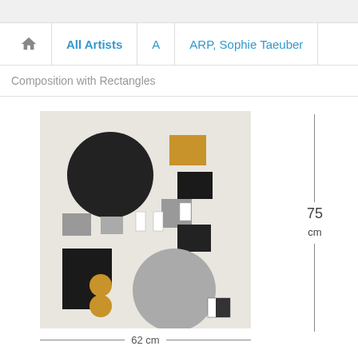All Artists | A | ARP, Sophie Taeuber
Composition with Rectangles
[Figure (photo): Artwork: Composition with Rectangles by ARP, Sophie Taeuber. Abstract geometric composition with black circle, gray circle, golden/orange circles, black and gray rectangles on off-white background. Dimensions: 75 cm height, 62 cm width.]